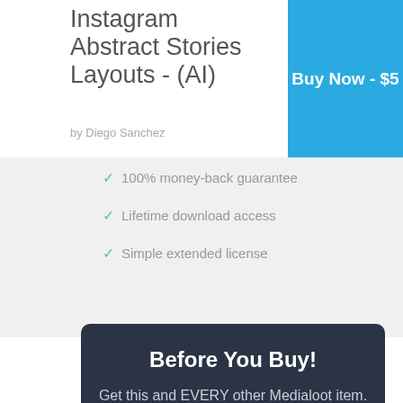Instagram Abstract Stories Layouts - (AI)
by Diego Sanchez
Login
Buy Now - $5
100% money-back guarantee
Lifetime download access
Simple extended license
Before You Buy!
Get this and EVERY other Medialoot item. Unlimited access for a year just $79